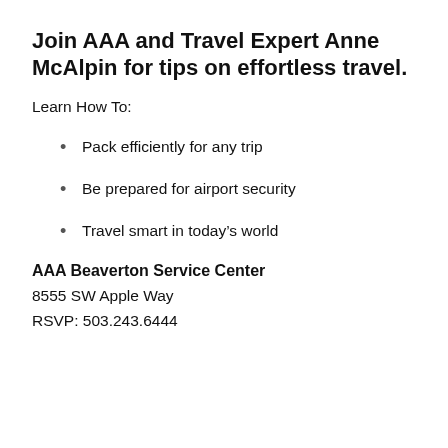Join AAA and Travel Expert Anne McAlpin for tips on effortless travel.
Learn How To:
Pack efficiently for any trip
Be prepared for airport security
Travel smart in today’s world
AAA Beaverton Service Center
8555 SW Apple Way
RSVP: 503.243.6444